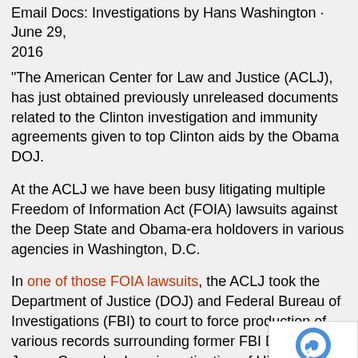Email Docs: Investigations by Hans Washington · June 29, 2016
“The American Center for Law and Justice (ACLJ), has just obtained previously unreleased documents related to the Clinton investigation and immunity agreements given to top Clinton aids by the Obama DOJ.
At the ACLJ we have been busy litigating multiple Freedom of Information Act (FOIA) lawsuits against the Deep State and Obama-era holdovers in various agencies in Washington, D.C.
In one of those FOIA lawsuits, the ACLJ took the Department of Justice (DOJ) and Federal Bureau of Investigations (FBI) to court to force production of various records surrounding former FBI Director James Comey’s sham investigation of Hillary Clinton’s use of private email servers and mishandling of classified information.
After months of litigation, the ACLJ’s diligence and